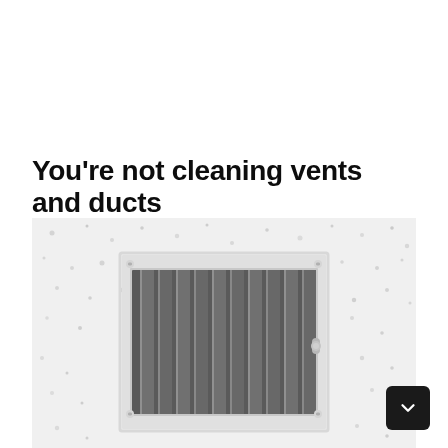You're not cleaning vents and ducts
[Figure (photo): Close-up photo of a white rectangular HVAC air vent/register mounted on a white speckled ceiling or wall. The vent has multiple horizontal louvered slats and a white frame with a visible adjustment knob.]